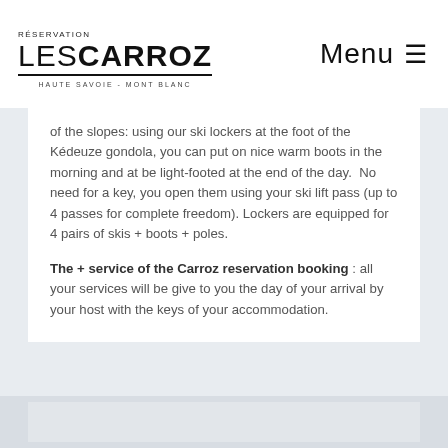RÉSERVATION LES CARROZ HAUTE SAVOIE - MONT BLANC | Menu ≡
of the slopes: using our ski lockers at the foot of the Kédeuze gondola, you can put on nice warm boots in the morning and at be light-footed at the end of the day.  No need for a key, you open them using your ski lift pass (up to 4 passes for complete freedom). Lockers are equipped for 4 pairs of skis + boots + poles.
The + service of the Carroz reservation booking : all your services will be give to you the day of your arrival by your host with the keys of your accommodation.